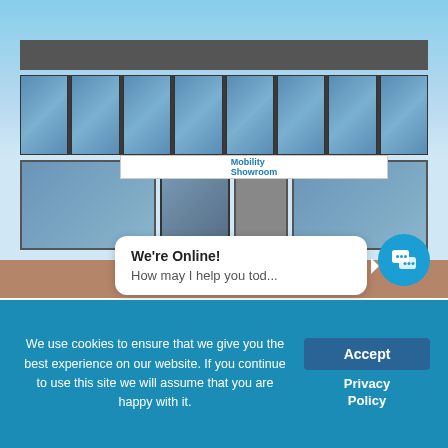[Figure (photo): Exterior photo of a Mobility Showroom storefront building in Melksham, showing large glass windows displaying mobility scooters, wheelchairs, lightweight power chairs and daily living aids. Blue sky background. The building has signage reading 'Mobility Showroom'.]
We're Online!
How may I help you tod...
Melksham Showroom
[Figure (logo): Green circle with white leaf icon used as a divider decoration]
We use cookies to ensure that we give you the best experience on our website. If you continue to use this site we will assume that you are happy with it.
Accept
Privacy Policy